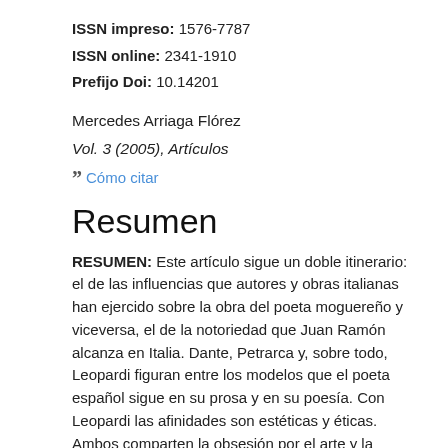ISSN impreso: 1576-7787
ISSN online: 2341-1910
Prefijo Doi: 10.14201
Mercedes Arriaga Flórez
Vol. 3 (2005), Artículos
Cómo citar
Resumen
RESUMEN: Este artículo sigue un doble itinerario: el de las influencias que autores y obras italianas han ejercido sobre la obra del poeta moguereño y viceversa, el de la notoriedad que Juan Ramón alcanza en Italia. Dante, Petrarca y, sobre todo, Leopardi figuran entre los modelos que el poeta español sigue en su prosa y en su poesía. Con Leopardi las afinidades son estéticas y éticas. Ambos comparten la obsesión por el arte y la muerte y aspiran a una fusión entre arte y vida, colocándose en la dimensión atemporal del arte y la distancia que la creación necesita. Su afinidad de ideas se concreta en